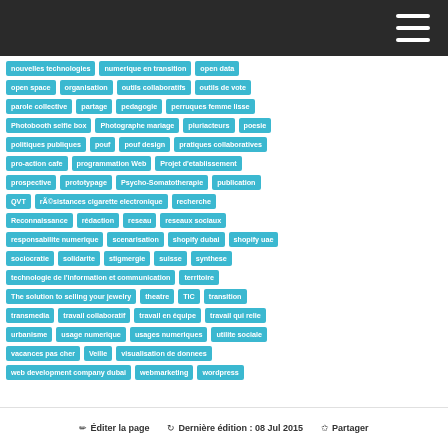nouvelles technologies
numerique en transition
open data
open space
organisation
outils collaboratifs
outils de vote
parole collective
partage
pedagogie
perruques femme lisse
Photobooth selfie box
Photographe mariage
pluriacteurs
poesie
politiques publiques
pouf
pouf design
pratiques collaboratives
pro-action cafe
programmation Web
Projet d'etablissement
prospective
prototypage
Psycho-Somatotherapie
publication
QVT
résistances cigarette electronique
recherche
Reconnaissance
rédaction
reseau
reseaux sociaux
responsabilite numerique
scenarisation
shopify dubai
shopify uae
sociocratie
solidarite
stigmergie
suisse
synthese
technologie de l'information et communication
territoire
The solution to selling your jewelry
theatre
TIC
transition
transmedia
travail collaboratif
travail en équipe
travail qui relie
urbanisme
usage numerique
usages numeriques
utilite sociale
vacances pas cher
Veille
visualisation de donnees
web development company dubai
webmarketing
wordpress
✏ Éditer la page  ↺ Dernière édition : 08 Jul 2015  ⬡ Partager